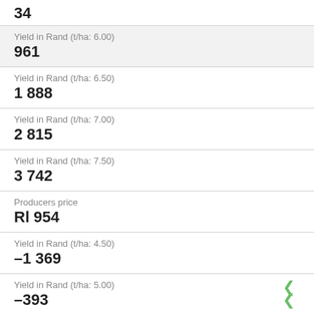34
Yield in Rand (t/ha: 6.00)
961
Yield in Rand (t/ha: 6.50)
1 888
Yield in Rand (t/ha: 7.00)
2 815
Yield in Rand (t/ha: 7.50)
3 742
Producers price
Rl 954
Yield in Rand (t/ha: 4.50)
-1 369
Yield in Rand (t/ha: 5.00)
-393
Yield in Rand (t/ha: 5.50)
584
Yield in Rand (t/ha: 6.00)